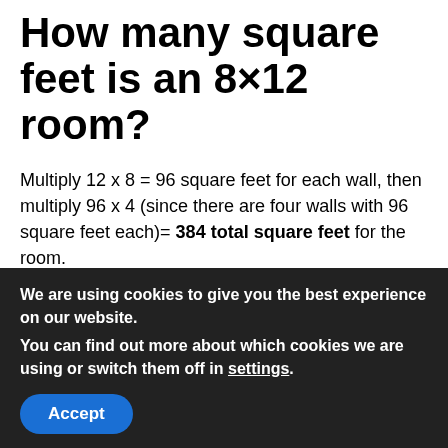How many square feet is an 8×12 room?
Multiply 12 x 8 = 96 square feet for each wall, then multiply 96 x 4 (since there are four walls with 96 square feet each)= 384 total square feet for the room.
How many square feet is my apartment?
To measure the square footage of an apartment, multiply...
We are using cookies to give you the best experience on our website.
You can find out more about which cookies we are using or switch them off in settings.
Accept